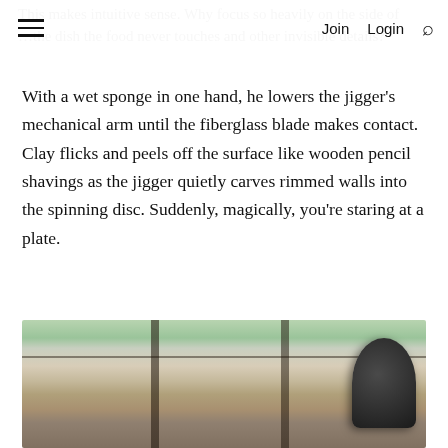Join  Login [search]
This makes intuitive sense. Why focus so heavily on the side of the dish the food never touches and other invisible details?
With a wet sponge in one hand, he lowers the jigger’s mechanical arm until the fiberglass blade makes contact. Clay flicks and peels off the surface like wooden pencil shavings as the jigger quietly carves rimmed walls into the spinning disc. Suddenly, magically, you’re staring at a plate.
[Figure (photo): A pottery/ceramics studio workspace with large industrial windows overlooking greenery. Tools, brushes, clay pots and objects are arranged on a worktable. A dark electric fan or device is visible on the right side. Natural light streams through the windows.]